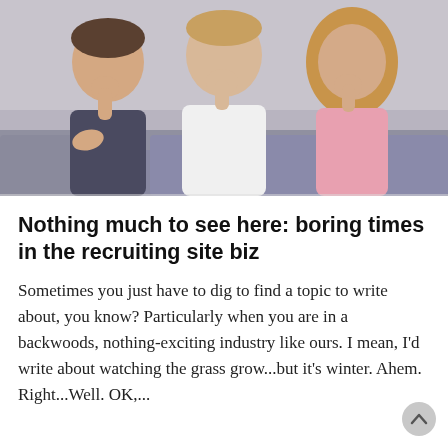[Figure (photo): Three bored-looking children (two boys and a girl) sitting on a couch with their chins resting on their hands]
Nothing much to see here: boring times in the recruiting site biz
Sometimes you just have to dig to find a topic to write about, you know? Particularly when you are in a backwoods, nothing-exciting industry like ours. I mean, I'd write about watching the grass grow...but it's winter. Ahem. Right...Well. OK,...